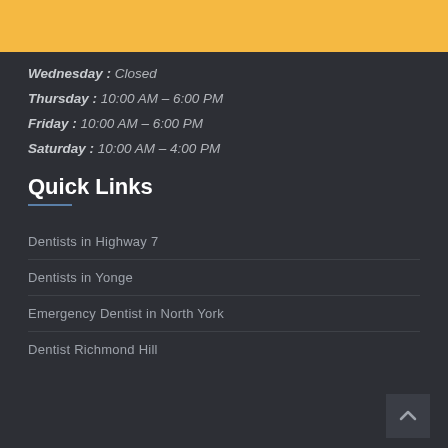[Figure (other): Gold/amber colored header bar at the top of the page]
Wednesday : Closed
Thursday : 10:00 AM – 6:00 PM
Friday : 10:00 AM – 6:00 PM
Saturday : 10:00 AM – 4:00 PM
Quick Links
Dentists in Highway 7
Dentists in Yonge
Emergency Dentist in North York
Dentist Richmond Hill